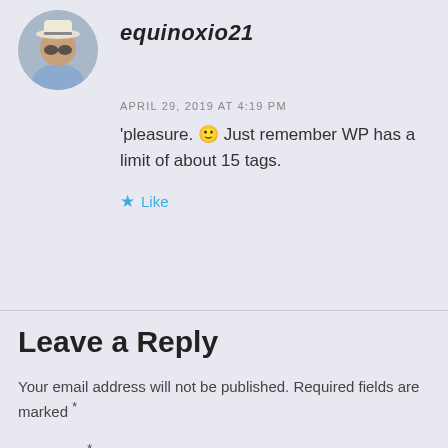[Figure (photo): Circular avatar photo of a person wearing a hat and sunglasses, outdoors.]
equinoxio21
APRIL 29, 2019 AT 4:19 PM
'pleasure. 🙂 Just remember WP has a limit of about 15 tags.
★ Like
Leave a Reply
Your email address will not be published. Required fields are marked *
Comment *